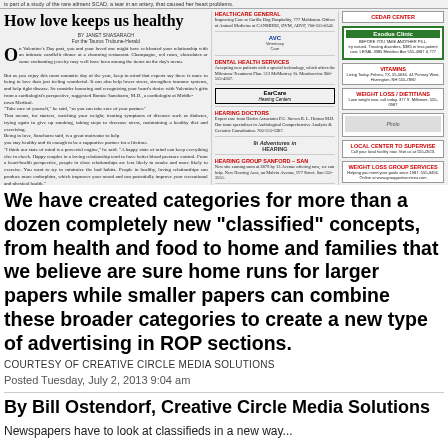[Figure (screenshot): Newspaper clipping showing article 'How love keeps us healthy' with columns of text, classified ads, and display advertisements for EarCare Hearing Center, Exodus Clinic, AVC, and Healing hearing]
We have created categories for more than a dozen completely new "classified" concepts, from health and food to home and families that we believe are sure home runs for larger papers while smaller papers can combine these broader categories to create a new type of advertising in ROP sections.
COURTESY OF CREATIVE CIRCLE MEDIA SOLUTIONS
Posted Tuesday, July 2, 2013 9:04 am
By Bill Ostendorf, Creative Circle Media Solutions
Newspapers have to look at classifieds in a new way...